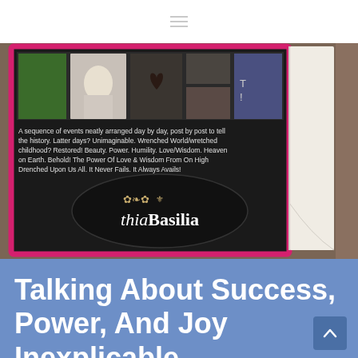[Figure (photo): Book cover photo showing the back of a book with text and thiaBasilia logo on a brown background. The book cover text reads: 'A sequence of events neatly arranged day by day, post by post to tell the history. Latter days? Unimaginable. Wrenched World/wretched childhood? Restored! Beauty. Power. Humility. Love/Wisdom. Heaven on Earth. Behold! The Power Of Love & Wisdom From On High Drenched Upon Us All. It Never Fails. It Always Avails!' with a dark oval logo showing 'thiaBasilia' in script. The book has a pink/magenta border and white spine visible on the right.]
Talking About Success, Power, And Joy Inexplicable .....?